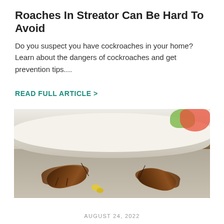Roaches In Streator Can Be Hard To Avoid
Do you suspect you have cockroaches in your home? Learn about the dangers of cockroaches and get prevention tips....
READ FULL ARTICLE >
[Figure (photo): Two cockroaches facing each other on a gray surface with food crumbs between them, a white plate and blurred colorful food in the background]
AUGUST 24, 2022